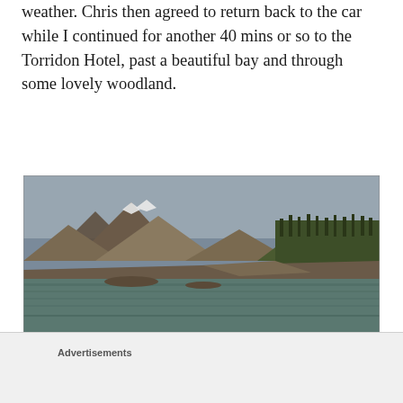weather. Chris then agreed to return back to the car while I continued for another 40 mins or so to the Torridon Hotel, past a beautiful bay and through some lovely woodland.
[Figure (photo): Landscape photograph of a Scottish highland loch scene with rugged mountains in the background (snow-capped peaks), a forested hillside to the right, rocky shoreline, and calm water in the foreground under an overcast sky.]
Advertisements